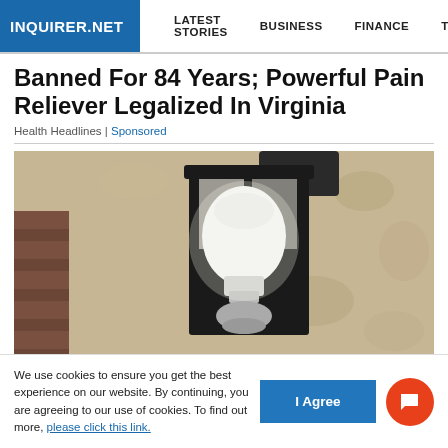INQUIRER.NET  LATEST STORIES  BUSINESS  FINANCE  TECHNOLO
Banned For 84 Years; Powerful Pain Reliever Legalized In Virginia
Health Headlines | Sponsored
[Figure (photo): Close-up photo of a dark metal outdoor wall lantern/light fixture with a white LED bulb visible inside, mounted on a beige/tan textured stucco wall. Dark brick visible on left side.]
We use cookies to ensure you get the best experience on our website. By continuing, you are agreeing to our use of cookies. To find out more, please click this link.